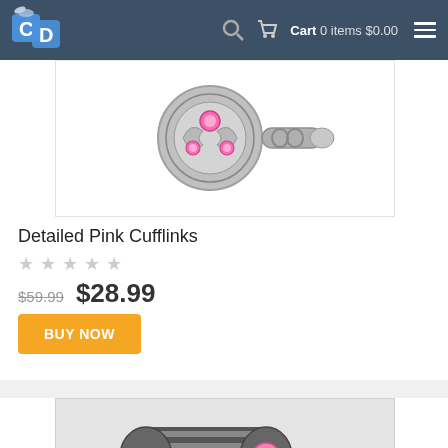[Figure (screenshot): E-commerce website header with CD logo, search icon, cart showing 0 items $0.00, and hamburger menu on dark slate background]
[Figure (photo): Detailed Pink Cufflinks - ornate silver cufflink with pink crystal gemstones in a filigree setting]
Detailed Pink Cufflinks
[Figure (other): 5 empty star rating icons]
$59.99  $28.99
BUY NOW
[Figure (photo): Dark gunmetal striped barrel cufflink with pink crystal center stone]